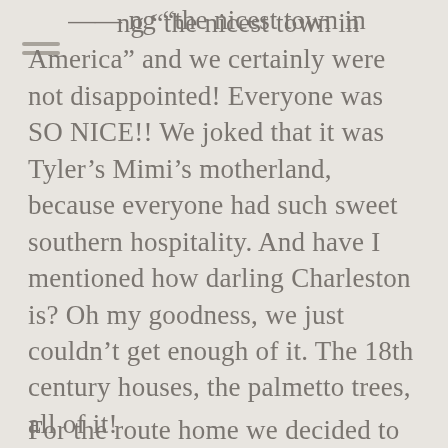ng “the nicest town in America” and we certainly were not disappointed! Everyone was SO NICE!! We joked that it was Tyler’s Mimi’s motherland, because everyone had such sweet southern hospitality. And have I mentioned how darling Charleston is? Oh my goodness, we just couldn’t get enough of it. The 18th century houses, the palmetto trees, all of it!
For the route home we decided to